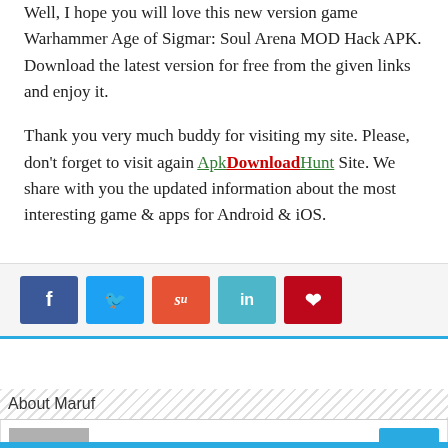Well, I hope you will love this new version game Warhammer Age of Sigmar: Soul Arena MOD Hack APK. Download the latest version for free from the given links and enjoy it.
Thank you very much buddy for visiting my site. Please, don't forget to visit again ApkDownloadHunt Site. We share with you the updated information about the most interesting game & apps for Android & iOS.
[Figure (infographic): Social share buttons: Facebook (blue), Twitter (light blue), StumbleUpon (orange-red), LinkedIn (teal), Pinterest (red)]
About Maruf
[Figure (photo): Author avatar placeholder (gray square with silhouette) and a scroll-to-top button (light blue with up arrow)]